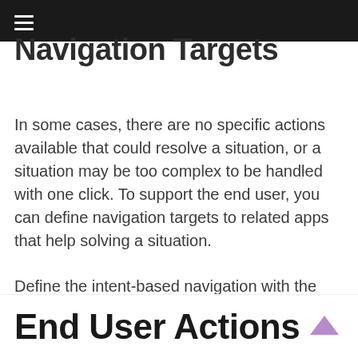Navigation Targets
In some cases, there are no specific actions available that could resolve a situation, or a situation may be too complex to be handled with one click. To support the end user, you can define navigation targets to related apps that help solving a situation.
Define the intent-based navigation with the semantic object and the semantic object action. If you want to navigate to a specific page in the app, you need to provide parameters.
End User Actions